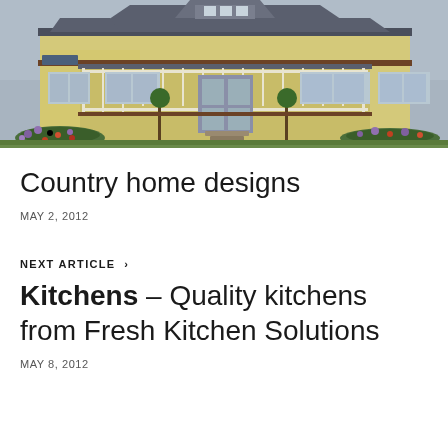[Figure (photo): Photograph of a country-style home with yellow weatherboard cladding, grey roof, white verandah railings, and a garden with colourful flowers in the foreground.]
Country home designs
MAY 2, 2012
NEXT ARTICLE ›
Kitchens – Quality kitchens from Fresh Kitchen Solutions
MAY 8, 2012